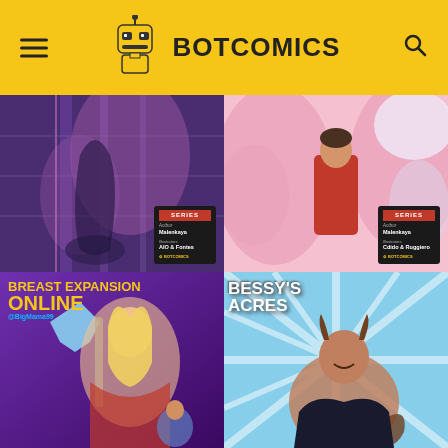[Figure (logo): BotComics website header with robot mascot logo, hamburger menu icon on left, search icon on right, yellow background]
[Figure (illustration): Comic book cover - purple/pink bathroom scene with shadowy figure, SERIES badge with Author: Malenkaya, Illustrators: AIO & Fontes]
[Figure (illustration): Comic book cover - pink/white scene with man in red jacket surrounded by large women, SERIES badge with Author: Malenkaya, Illustrators: Cdido & Ruggiero]
[Figure (illustration): Comic book cover - Breast Expansion Online, purple background, blonde warrior woman with axe, @BigMama99 watermark]
[Figure (illustration): Comic book cover - Bessy's Acres, blue/white starburst background, girl with horns and tail]